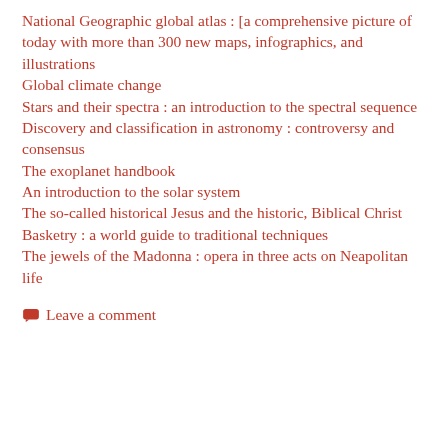National Geographic global atlas : [a comprehensive picture of today with more than 300 new maps, infographics, and illustrations
Global climate change
Stars and their spectra : an introduction to the spectral sequence
Discovery and classification in astronomy : controversy and consensus
The exoplanet handbook
An introduction to the solar system
The so-called historical Jesus and the historic, Biblical Christ
Basketry : a world guide to traditional techniques
The jewels of the Madonna : opera in three acts on Neapolitan life
Leave a comment